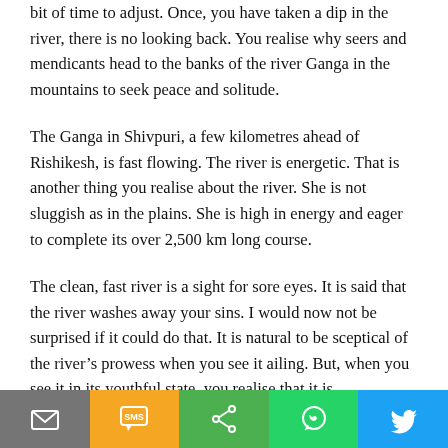bit of time to adjust. Once, you have taken a dip in the river, there is no looking back. You realise why seers and mendicants head to the banks of the river Ganga in the mountains to seek peace and solitude.
The Ganga in Shivpuri, a few kilometres ahead of Rishikesh, is fast flowing. The river is energetic. That is another thing you realise about the river. She is not sluggish as in the plains. She is high in energy and eager to complete its over 2,500 km long course.
The clean, fast river is a sight for sore eyes. It is said that the river washes away your sins. I would now not be surprised if it could do that. It is natural to be sceptical of the river’s prowess when you see it ailing. But, when you see it in its youthful state, you realise that it is mesmerizing
[Figure (other): Social share bar with icons for email, SMS, share, WhatsApp, and Twitter]